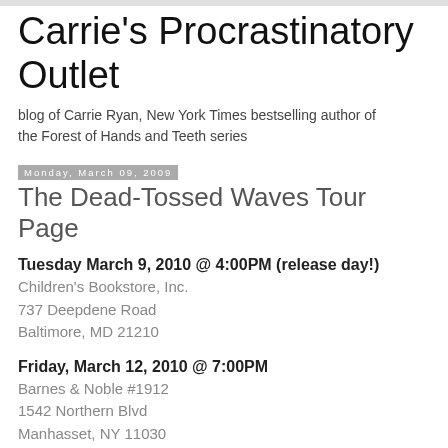Carrie's Procrastinatory Outlet
blog of Carrie Ryan, New York Times bestselling author of the Forest of Hands and Teeth series
Monday, March 09, 2009
The Dead-Tossed Waves Tour Page
Tuesday March 9, 2010 @ 4:00PM (release day!)
Children's Bookstore, Inc.
737 Deepdene Road
Baltimore, MD 21210
Friday, March 12, 2010 @ 7:00PM
Barnes & Noble #1912
1542 Northern Blvd
Manhasset, NY 11030